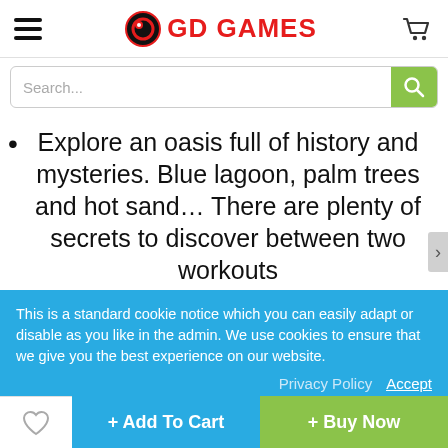GD GAMES
Search...
Explore an oasis full of history and mysteries. Blue lagoon, palm trees and hot sand… There are plenty of secrets to discover between two workouts
This is a standard cookie notice which you can easily adapt or disable as you like in the admin. We use cookies to ensure that we give you the best experience on our website.
Privacy Policy   Accept
players
32 people are currently viewing this item
+ Add To Cart
+ Buy Now